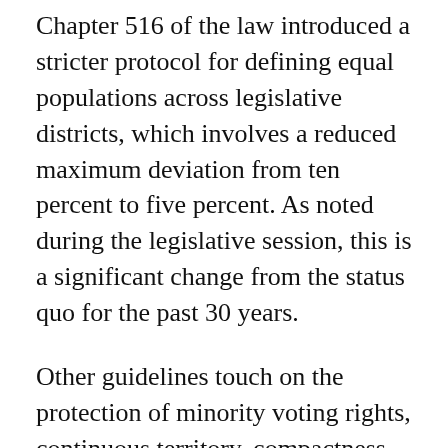Chapter 516 of the law introduced a stricter protocol for defining equal populations across legislative districts, which involves a reduced maximum deviation from ten percent to five percent. As noted during the legislative session, this is a significant change from the status quo for the past 30 years.
Other guidelines touch on the protection of minority voting rights, continuous territory, compactness of districts, fairness in the political arena, and election administration efficiency.
In regards to local elections, the county charter dictates that the size of a county